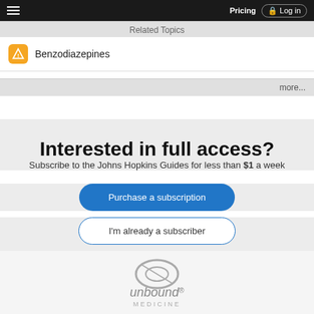Pricing  Log in
Related Topics
Benzodiazepines
more...
Interested in full access?
Subscribe to the Johns Hopkins Guides for less than $1 a week
Purchase a subscription
I'm already a subscriber
[Figure (logo): Unbound Medicine logo — stylized oval O graphic above the text 'unbound MEDICINE' in grey]